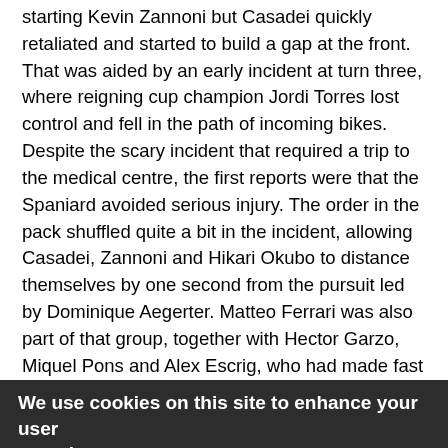starting Kevin Zannoni but Casadei quickly retaliated and started to build a gap at the front. That was aided by an early incident at turn three, where reigning cup champion Jordi Torres lost control and fell in the path of incoming bikes. Despite the scary incident that required a trip to the medical centre, the first reports were that the Spaniard avoided serious injury. The order in the pack shuffled quite a bit in the incident, allowing Casadei, Zannoni and Hikari Okubo to distance themselves by one second from the pursuit led by Dominique Aegerter. Matteo Ferrari was also part of that group, together with Hector Garzo, Miquel Pons and Alex Escrig, who had made fast progress from outside the top 10 on the grid, while Eric Granado lost ground early on and, unlike Jerez, never looked on course for a comeback.
Back at the front, Casadei managed to extend a seven
We use cookies on this site to enhance your user experience